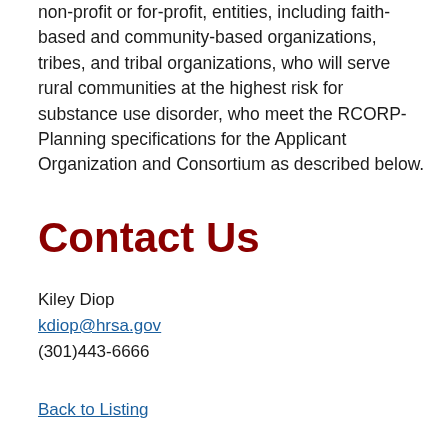non-profit or for-profit, entities, including faith-based and community-based organizations, tribes, and tribal organizations, who will serve rural communities at the highest risk for substance use disorder, who meet the RCORP-Planning specifications for the Applicant Organization and Consortium as described below.
Contact Us
Kiley Diop
kdiop@hrsa.gov
(301)443-6666
Back to Listing